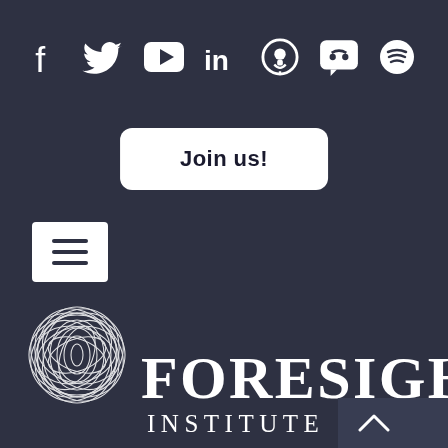[Figure (logo): Social media icons row: Facebook, Twitter, YouTube, LinkedIn, Podcast, Discord, Spotify — all white on dark background]
Join us!
[Figure (other): Hamburger menu button (three horizontal lines) in a white rounded rectangle]
[Figure (logo): Foresight Institute logo: stylized brain/molecule SVG illustration next to large white serif text reading FORESIGHT INSTITUTE]